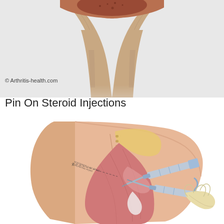[Figure (illustration): Medical illustration showing a close-up cross-section of a joint (bone ends) with cartilage, viewed against a light gray background. The bone ends show texture and reddish-brown coloring consistent with an arthritis-health.com educational image.]
© Arthritis-health.com
Pin On Steroid Injections
[Figure (illustration): Medical illustration showing a steroid injection procedure into the hip/buttock area. The image depicts the posterior view of a human torso and upper thigh with skin, muscle, and bone anatomy visible (including the ilium/sacrum). A gloved hand holds a syringe with two needles inserted into the hip joint area. A dashed line with an X mark is shown on the skin surface indicating the injection site.]